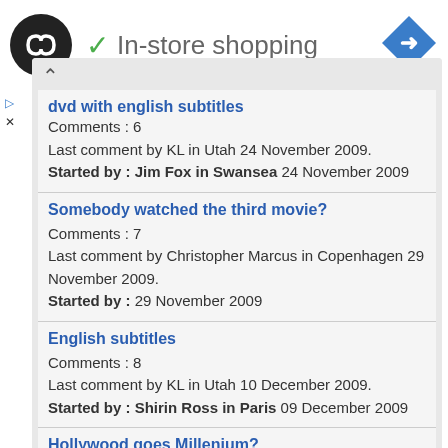[Figure (logo): Black circle logo with double arrow/infinity symbol in white]
✓ In-store shopping
[Figure (illustration): Blue diamond navigation/directions icon]
▷
X
dvd with english subtitles
Comments : 6
Last comment by KL in Utah 24 November 2009.
Started by : Jim Fox in Swansea 24 November 2009
Somebody watched the third movie?
Comments : 7
Last comment by Christopher Marcus in Copenhagen 29 November 2009.
Started by : 29 November 2009
English subtitles
Comments : 8
Last comment by KL in Utah 10 December 2009.
Started by : Shirin Ross in Paris 09 December 2009
Hollywood goes Millenium?
Comments : 18